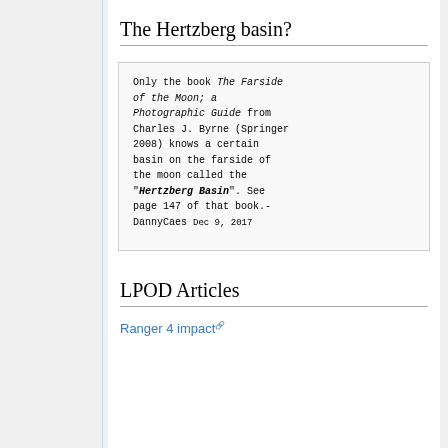The Hertzberg basin?
Only the book The Farside of the Moon; a Photographic Guide from Charles J. Byrne (Springer 2008) knows a certain basin on the farside of the moon called the "Hertzberg Basin". See page 147 of that book.- DannyCaes Dec 9, 2017
LPOD Articles
Ranger 4 impact